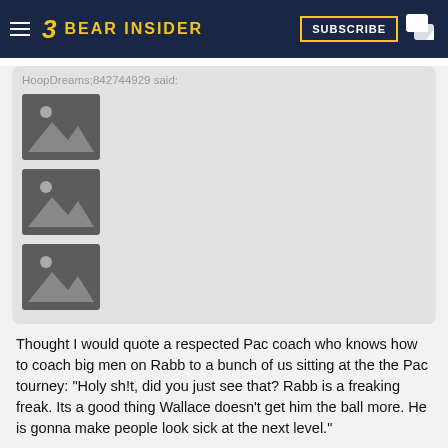BEAR INSIDER
HoopDreams;842744929 said:
[Figure (illustration): Image placeholder icon 1]
[Figure (illustration): Image placeholder icon 2]
[Figure (illustration): Image placeholder icon 3]
Thought I would quote a respected Pac coach who knows how to coach big men on Rabb to a bunch of us sitting at the the Pac tourney: "Holy sh!t, did you just see that? Rabb is a freaking freak. Its a good thing Wallace doesn't get him the ball more. He is gonna make people look sick at the next level."
©©©